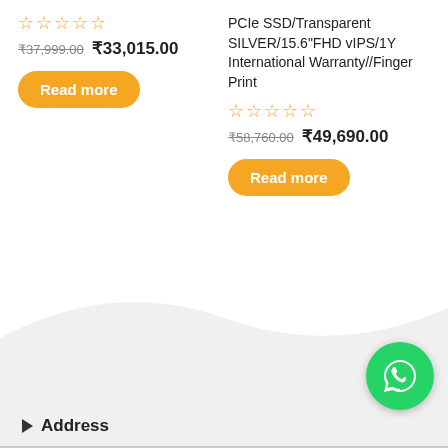★★★★★ (0 rating) ₹37,999.00 ₹33,015.00
Read more
PCIe SSD/Transparent SILVER/15.6"FHD vIPS/1Y International Warranty//Finger Print ★★★★★ ₹58,760.00 ₹49,690.00
Read more
Address